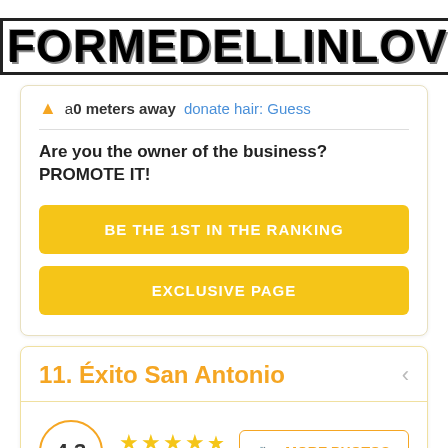FORMEDELLINLOVERS
a 0 meters away donate hair: Guess
Are you the owner of the business? PROMOTE IT!
BE THE 1ST IN THE RANKING
EXCLUSIVE PAGE
11. Éxito San Antonio
4.3 ★★★★½ 18670 reviews MORE PHOTOS